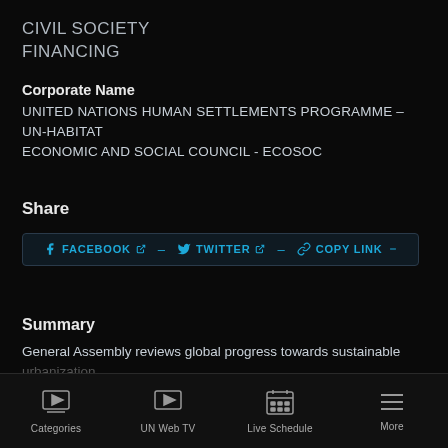CIVIL SOCIETY
FINANCING
Corporate Name
UNITED NATIONS HUMAN SETTLEMENTS PROGRAMME – UN-HABITAT
ECONOMIC AND SOCIAL COUNCIL - ECOSOC
Share
FACEBOOK  TWITTER  COPY LINK
Summary
General Assembly reviews global progress towards sustainable urbanization
Categories  UN Web TV  Live Schedule  More